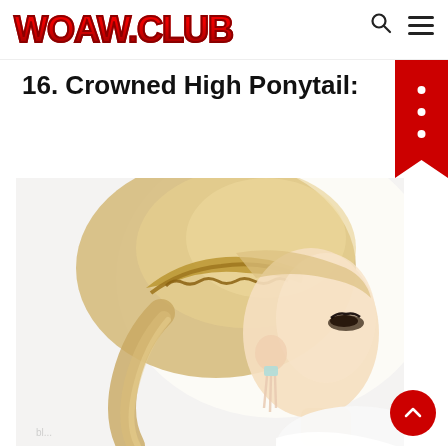WOAW.CLUB
16. Crowned High Ponytail:
[Figure (photo): A blonde woman with a braided crown hairstyle and high ponytail, wearing dangling earrings, shown in profile view against a white background.]